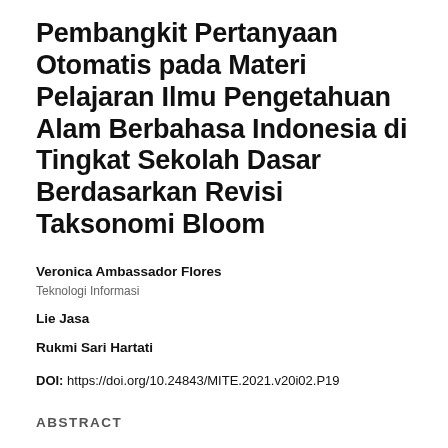Pembangkit Pertanyaan Otomatis pada Materi Pelajaran Ilmu Pengetahuan Alam Berbahasa Indonesia di Tingkat Sekolah Dasar Berdasarkan Revisi Taksonomi Bloom
Veronica Ambassador Flores
Teknologi Informasi
Lie Jasa
Rukmi Sari Hartati
DOI: https://doi.org/10.24843/MITE.2021.v20i02.P19
ABSTRACT